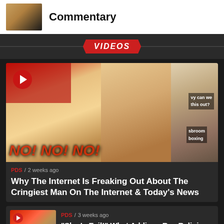Commentary
VIDEOS
[Figure (screenshot): Video thumbnail collage showing a woman with blonde hair, a man with surprised expression, and another man laughing, with YouTube-style overlay graphics including NO! NO! NO! text and a play button.]
PDS / 2 weeks ago
Why The Internet Is Freaking Out About The Cringiest Man On The Internet & Today’s News
[Figure (screenshot): Small video thumbnail showing a man with red and white background, with play button overlay.]
PDS / 3 weeks ago
“She Is Evil!” What Addison Rae Religious Backlash Reveals, Joe Rogan, Jake Paul, Teacher Shortage